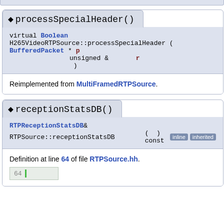processSpecialHeader()
virtual Boolean H265VideoRTPSource::processSpecialHeader ( BufferedPacket * p, unsigned & r, )
Reimplemented from MultiFramedRTPSource.
receptionStatsDB()
RTPReceptionStatsDB& RTPSource::receptionStatsDB ( ) const inline inherited
Definition at line 64 of file RTPSource.hh.
64